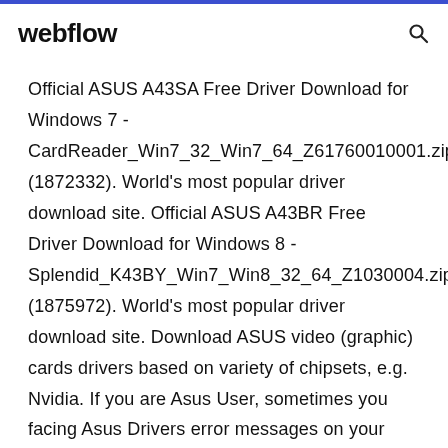webflow
Official ASUS A43SA Free Driver Download for Windows 7 - CardReader_Win7_32_Win7_64_Z61760010001.zip (1872332). World's most popular driver download site. Official ASUS A43BR Free Driver Download for Windows 8 - Splendid_K43BY_Win7_Win8_32_64_Z1030004.zip (1875972). World's most popular driver download site. Download ASUS video (graphic) cards drivers based on variety of chipsets, e.g. Nvidia. If you are Asus User, sometimes you facing Asus Drivers error messages on your display saying "Display driver stopped responding and has recovered". Get Step by step guide for troubleshoot Asus Drivers Error